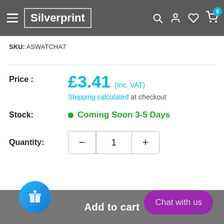Silverprint
SKU: ASWATCHA7
Price : £3.41 (Inc. VAT) Shipping calculated at checkout
Stock: Coming Soon 3-5 Days
Quantity: 1
Add to cart
Chat with us